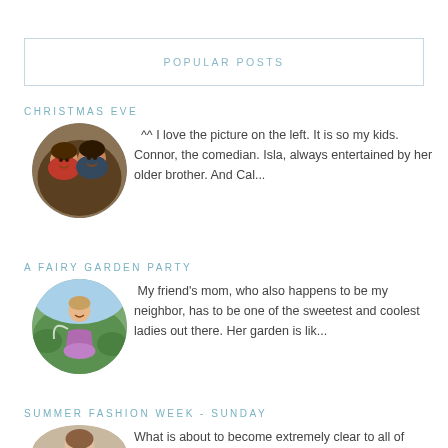POPULAR POSTS
CHRISTMAS EVE
[Figure (photo): Circular photo of two children in Christmas attire, smiling together]
^^ I love the picture on the left. It is so my kids. Connor, the comedian. Isla, always entertained by her older brother. And Cal...
A FAIRY GARDEN PARTY
[Figure (photo): Circular photo of a young girl in a garden, wearing a purple tutu]
My friend's mom, who also happens to be my neighbor, has to be one of the sweetest and coolest ladies out there. Her garden is lik...
SUMMER FASHION WEEK - SUNDAY
What is about to become extremely clear to all of you...